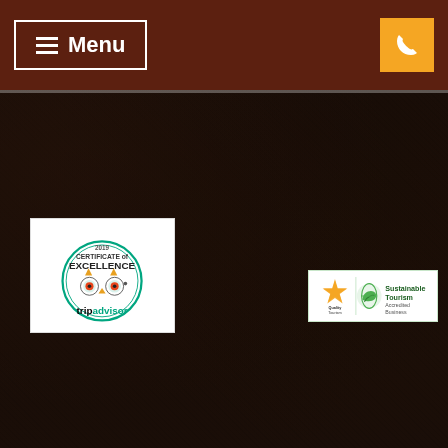≡ Menu | Phone button
[Figure (logo): TripAdvisor 2019 Certificate of Excellence badge with owl logo]
[Figure (logo): Quality Tourism and Sustainable Tourism Accredited Business badge]